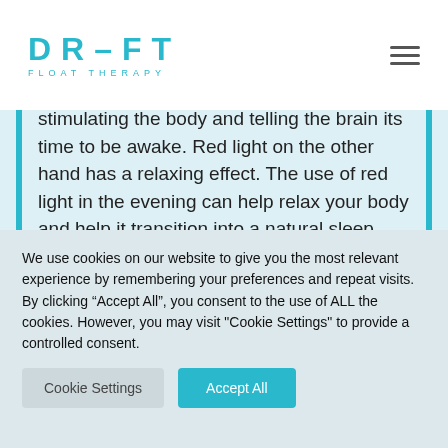DR–FT FLOAT THERAPY
stimulating the body and telling the brain its time to be awake. Red light on the other hand has a relaxing effect. The use of red light in the evening can help relax your body and help it transition into a natural sleep cycle.
We use cookies on our website to give you the most relevant experience by remembering your preferences and repeat visits. By clicking “Accept All”, you consent to the use of ALL the cookies. However, you may visit "Cookie Settings" to provide a controlled consent.